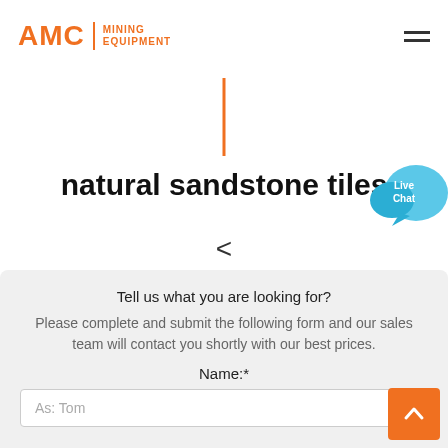[Figure (logo): AMC Mining Equipment logo in orange]
[Figure (illustration): Orange vertical divider line]
natural sandstone tiles
[Figure (illustration): Live Chat speech bubble icon in blue]
<
Tell us what you are looking for?
Please complete and submit the following form and our sales team will contact you shortly with our best prices.
Name:*
As: Tom